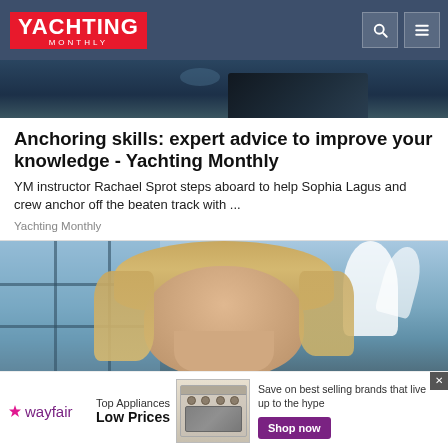YACHTING MONTHLY
[Figure (photo): Top banner image showing a dark sailboat on water, partially visible]
Anchoring skills: expert advice to improve your knowledge - Yachting Monthly
YM instructor Rachael Sprot steps aboard to help Sophia Lagus and crew anchor off the beaten track with ...
Yachting Monthly
[Figure (photo): Photo of a blonde woman smiling, seated indoors with blue window panels and white decorative element in background]
[Figure (advertisement): Wayfair advertisement: Top Appliances Low Prices. Save on best selling brands that live up to the hype. Shop now button.]